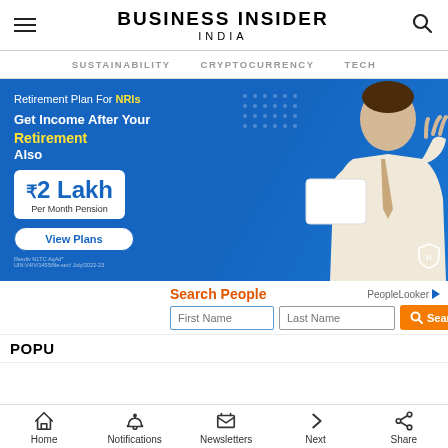BUSINESS INSIDER INDIA
SUSTAINABILITY   CRYPTOCURRENCY   TECH
[Figure (photo): Advertisement banner for HDFC Life NRI retirement plan featuring a man in a white suit holding a sign saying ₹2 Lakh Per Month Pension, with text 'Retirement Plan For NRIs', 'Get Income After Your Retirement Also', and a 'View Plans' button]
Search People  PeopleLooker  First Name  Last Name  Search
POPU
Home  Notifications  Newsletters  Next  Share